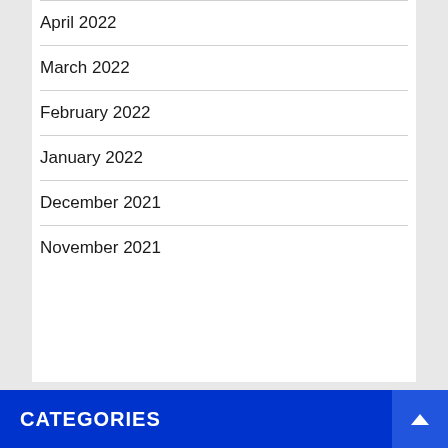April 2022
March 2022
February 2022
January 2022
December 2021
November 2021
CATEGORIES